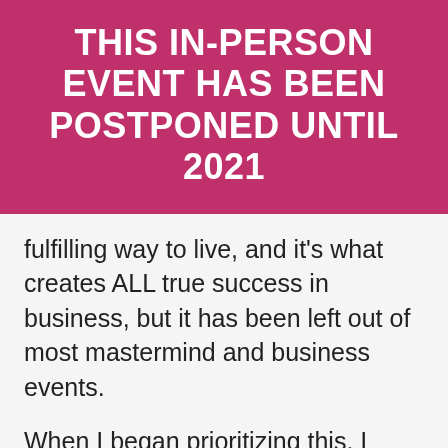THIS IN-PERSON EVENT HAS BEEN POSTPONED UNTIL 2021
fulfilling way to live, and it's what creates ALL true success in business, but it has been left out of most mastermind and business events.
When I began prioritizing this, I worked way less and created way more. Synchronicities always showed up, and challenges and limitations fell away. I invite you to a whole new way of doing your business.